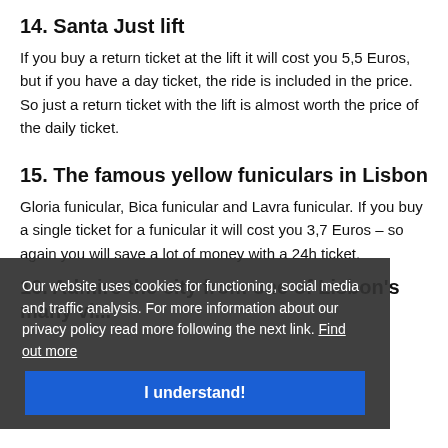14. Santa Just lift
If you buy a return ticket at the lift it will cost you 5,5 Euros, but if you have a day ticket, the ride is included in the price. So just a return ticket with the lift is almost worth the price of the daily ticket.
15. The famous yellow funiculars in Lisbon
Gloria funicular, Bica funicular and Lavra funicular. If you buy a single ticket for a funicular it will cost you 3,7 Euros – so again you will save a lot of money with a 24h ticket.
[Figure (screenshot): Cookie consent overlay with dark background containing text: 'Our website uses cookies for functioning, social media and traffic analysis. For more information about our privacy policy read more following the next link. Find out more' and a blue 'I understand!' button]
16. Admire the city from one of Lisbon's many vi...
The many hills of Lisbon come with many vantage